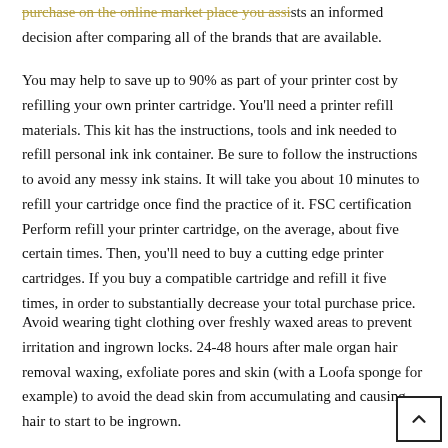purchase on the online market place you assists an informed decision after comparing all of the brands that are available.
You may help to save up to 90% as part of your printer cost by refilling your own printer cartridge. You'll need a printer refill materials. This kit has the instructions, tools and ink needed to refill personal ink ink container. Be sure to follow the instructions to avoid any messy ink stains. It will take you about 10 minutes to refill your cartridge once find the practice of it. FSC certification Perform refill your printer cartridge, on the average, about five certain times. Then, you'll need to buy a cutting edge printer cartridges. If you buy a compatible cartridge and refill it five times, in order to substantially decrease your total purchase price.
Avoid wearing tight clothing over freshly waxed areas to prevent irritation and ingrown locks. 24-48 hours after male organ hair removal waxing, exfoliate pores and skin (with a Loofa sponge for example) to avoid the dead skin from accumulating and causing hair to start to be ingrown.